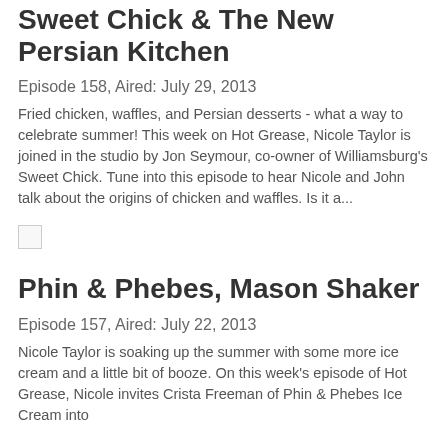Sweet Chick & The New Persian Kitchen
Episode 158, Aired: July 29, 2013
Fried chicken, waffles, and Persian desserts - what a way to celebrate summer! This week on Hot Grease, Nicole Taylor is joined in the studio by Jon Seymour, co-owner of Williamsburg's Sweet Chick. Tune into this episode to hear Nicole and John talk about the origins of chicken and waffles. Is it a...
[Figure (photo): Small broken image placeholder]
Phin & Phebes, Mason Shaker
Episode 157, Aired: July 22, 2013
Nicole Taylor is soaking up the summer with some more ice cream and a little bit of booze. On this week's episode of Hot Grease, Nicole invites Crista Freeman of Phin & Phebes Ice Cream into